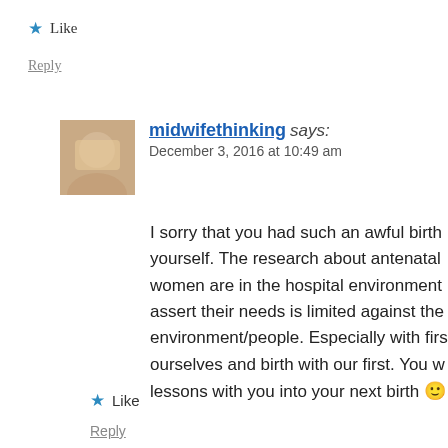★ Like
Reply
midwifethinking says: December 3, 2016 at 10:49 am
I sorry that you had such an awful birth yourself. The research about antenatal women are in the hospital environment assert their needs is limited against the environment/people. Especially with first ourselves and birth with our first. You w lessons with you into your next birth 🙂
★ Like
Reply